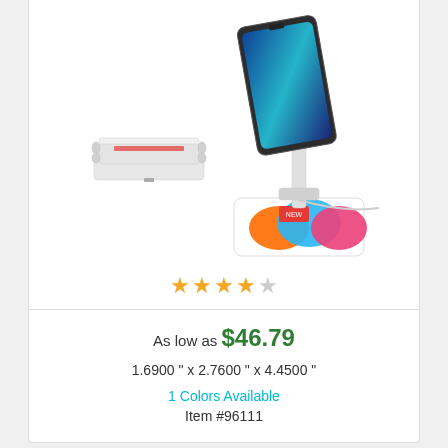[Figure (photo): Product photo of a folding phone/tablet stand with a colorful base pad and a folded unit beside it, shown on white background]
As low as $46.79
1.6900 " x 2.7600 " x 4.4500 "
1 Colors Available
Item #96111
Full Color multi pocket Neck Wallet w/ adjustable Lanyard